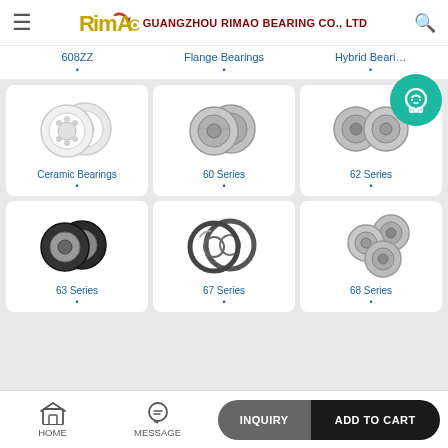[Figure (logo): Rimao bearing company logo with hamburger menu and search icon]
608ZZ
Flange Bearings
Hybrid Bearings
[Figure (photo): Ceramic bearings product photo - white ceramic ball bearings]
[Figure (photo): 60 Series bearings product photo - two steel ball bearings]
[Figure (photo): 62 Series bearings product photo - two steel ball bearings]
Ceramic Bearings
60 Series
62 Series
[Figure (photo): 63 Series bearings product photo - two rubber-sealed ball bearings]
[Figure (photo): 67 Series bearings product photo - two thin section open bearings]
[Figure (photo): 68 Series bearings product photo - three miniature steel ball bearings]
63 Series
67 Series
68 Series
HOME
MESSAGE
INQUIRY
ADD TO CART